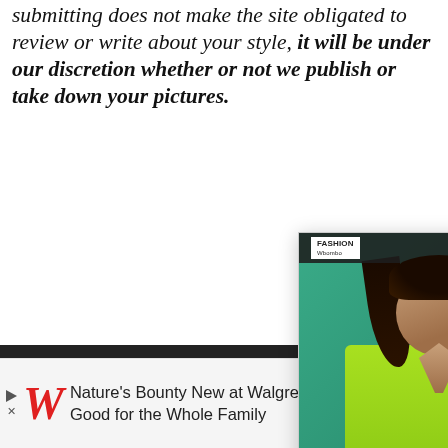submitting does not make the site obligated to review or write about your style, it will be under our discretion whether or not we publish or take down your pictures.
POSTED IN: FAS... FEATUREDTAGE... WEEK,FEATURE...
[Figure (screenshot): A popup card showing a woman in a bright green outfit against a teal background, with the caption: Ciara Stuns In Yet AnotherBrilliantOutfit For Ten To OneRum Party - 21Ninety]
Ciara Stuns In Yet AnotherBrilliantOutfit For Ten To OneRum Party - 21Ninety
Top Ten Videos of ...
Does Bape Owe Ty ...
Nature's Bounty New at Walgreen's Good for the Whole Family